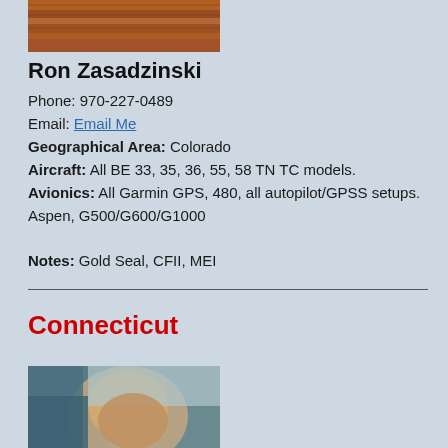[Figure (photo): Partial photo of outdoor scene, reddish/brown texture, top of page]
Ron Zasadzinski
Phone: 970-227-0489
Email: Email Me
Geographical Area: Colorado
Aircraft: All BE 33, 35, 36, 55, 58 TN TC models.
Avionics: All Garmin GPS, 480, all autopilot/GPSS setups. Aspen, G500/G600/G1000
Notes: Gold Seal, CFII, MEI
Connecticut
[Figure (photo): Partial photo of a person in an aircraft cockpit, bottom of page]